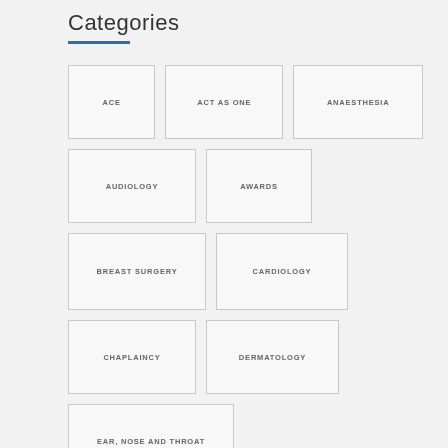Categories
ACE
ACT AS ONE
ANAESTHESIA
AUDIOLOGY
AWARDS
BREAST SURGERY
CARDIOLOGY
CHAPLAINCY
DERMATOLOGY
EAR, NOSE AND THROAT
ELDERLY CARE